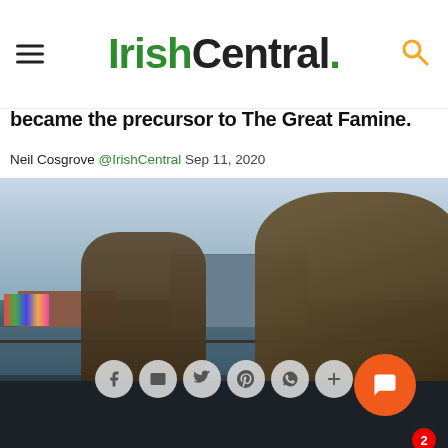IrishCentral.
became the precursor to The Great Famine.
Neil Cosgrove @IrishCentral Sep 11, 2020
[Figure (photo): Bronze famine memorial statues on the banks of the River Liffey in Dublin, Ireland, with the Convention Centre Dublin visible in the background.]